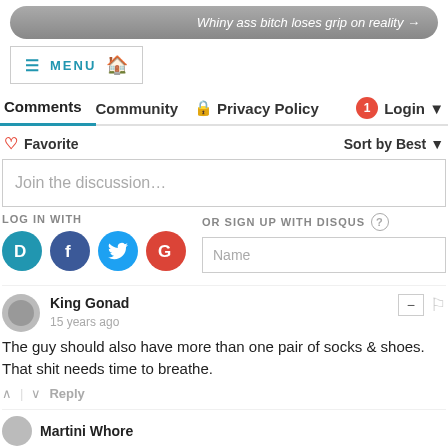Whiny ass bitch loses grip on reality →
≡ MENU 🏠
Comments  Community  🔒 Privacy Policy  1  Login ▼
♡ Favorite   Sort by Best ▼
Join the discussion…
LOG IN WITH   OR SIGN UP WITH DISQUS ?   Name
King Gonad  15 years ago  — 🚩  The guy should also have more than one pair of socks & shoes. That shit needs time to breathe.  ∧ | ∨  Reply
Martini Whore